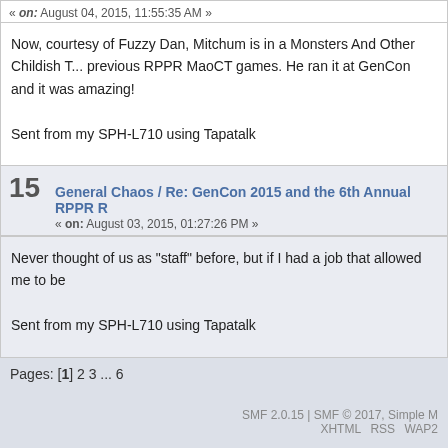« on: August 04, 2015, 11:55:35 AM »
Now, courtesy of Fuzzy Dan, Mitchum is in a Monsters And Other Childish Things game. He ran it at GenCon and it was amazing!
Sent from my SPH-L710 using Tapatalk
15 General Chaos / Re: GenCon 2015 and the 6th Annual RPPR R
« on: August 03, 2015, 01:27:26 PM »
Never thought of us as "staff" before, but if I had a job that allowed me to be
Sent from my SPH-L710 using Tapatalk
Pages: [1] 2 3 ... 6
SMF 2.0.15 | SMF © 2017, Simple M   XHTML   RSS   WAP2